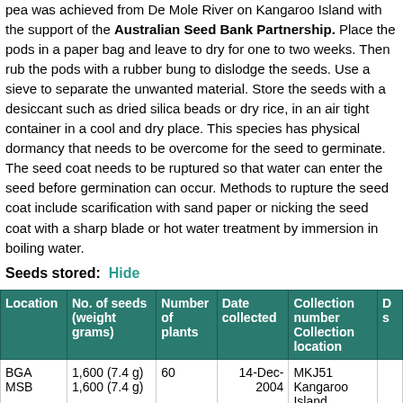pea was achieved from De Mole River on Kangaroo Island with the support of the Australian Seed Bank Partnership. Place the pods in a paper bag and leave to dry for one to two weeks. Then rub the pods with a rubber bung to dislodge the seeds. Use a sieve to separate the unwanted material. Store the seeds with a desiccant such as dried silica beads or dry rice, in an air tight container in a cool and dry place. This species has physical dormancy that needs to be overcome for the seed to germinate. The seed coat needs to be ruptured so that water can enter the seed before germination can occur. Methods to rupture the seed coat include scarification with sand paper or nicking the seed coat with a sharp blade or hot water treatment by immersion in boiling water.
Seeds stored:  Hide
| Location | No. of seeds (weight grams) | Number of plants | Date collected | Collection number Collection location | D s |
| --- | --- | --- | --- | --- | --- |
| BGA
MSB | 1,600 (7.4 g)
1,600 (7.4 g) | 60 | 14-Dec-2004 | MKJ51
Kangaroo Island |  |
| BGA | 2,400 (9.5 g) | 10 | 19-Jan- | DJD3605 | 1 |